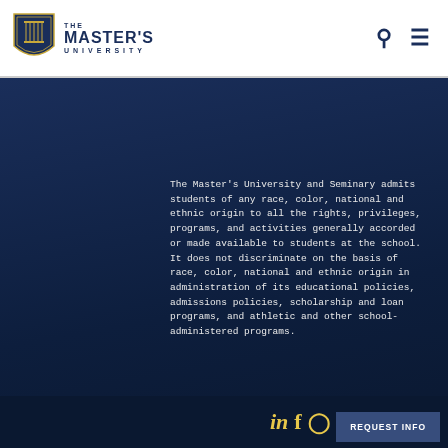THE MASTER'S UNIVERSITY
The Master's University and Seminary admits students of any race, color, national and ethnic origin to all the rights, privileges, programs, and activities generally accorded or made available to students at the school. It does not discriminate on the basis of race, color, national and ethnic origin in administration of its educational policies, admissions policies, scholarship and loan programs, and athletic and other school-administered programs.
[Figure (logo): Social media icons: LinkedIn, Facebook, Instagram in gold/yellow color at bottom of page]
REQUEST INFO